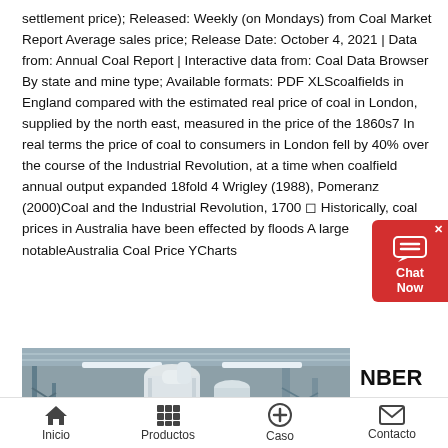settlement price); Released: Weekly (on Mondays) from Coal Market Report Average sales price; Release Date: October 4, 2021 | Data from: Annual Coal Report | Interactive data from: Coal Data Browser By state and mine type; Available formats: PDF XLScoalfields in England compared with the estimated real price of coal in London, supplied by the north east, measured in the price of the 1860s7 In real terms the price of coal to consumers in London fell by 40% over the course of the Industrial Revolution, at a time when coalfield annual output expanded 18fold 4 Wrigley (1988), Pomeranz (2000)Coal and the Industrial Revolution, 1700 – Historically, coal prices in Australia have been effected by floods A large notableAustralia Coal Price YCharts
[Figure (photo): Industrial facility interior showing large white pipes/ductwork and metal scaffolding structure under a corrugated roof]
NBER
Inicio   Productos   Caso   Contacto